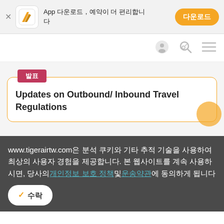[Figure (screenshot): App download banner with Tiger Air logo, Korean text 'App 다운로드, 예약이 더 편리합니다' and orange download button '다운로드']
[Figure (screenshot): Navigation bar with user icon, search icon, and hamburger menu icon on white background]
[Figure (screenshot): Announcement card with pink badge '발표' and title 'Updates on Outbound/ Inbound Travel Regulations' with orange border and orange circle decoration]
www.tigerairtw.com은 분석 쿠키와 기타 추적 기술을 사용하여 최상의 사용자 경험을 제공합니다. 본 웹사이트를 계속 사용하시면, 당사의개인정보 보호 정책및운송약관에 동의하게 됩니다
수락